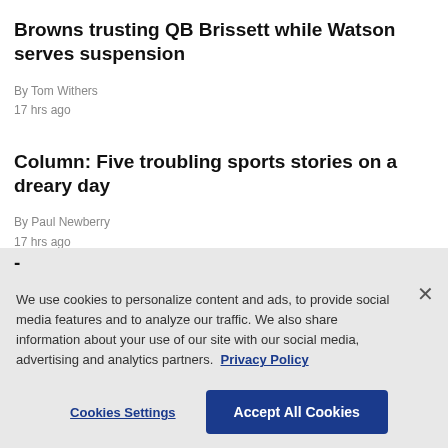Browns trusting QB Brissett while Watson serves suspension
By Tom Withers
17 hrs ago
Column: Five troubling sports stories on a dreary day
By Paul Newberry
17 hrs ago
We use cookies to personalize content and ads, to provide social media features and to analyze our traffic. We also share information about your use of our site with our social media, advertising and analytics partners. Privacy Policy
Cookies Settings
Accept All Cookies